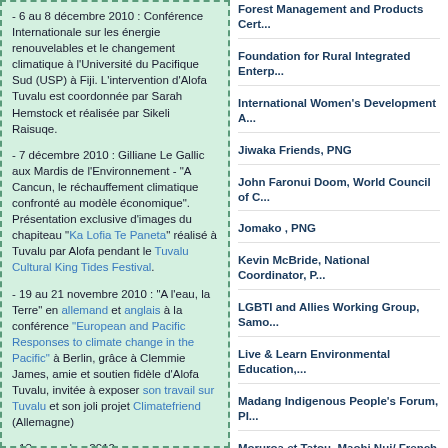- 6 au 8 décembre 2010 : Conférence Internationale sur les énergie renouvelables et le changement climatique à l'Université du Pacifique Sud (USP) à Fiji. L'intervention d'Alofa Tuvalu est coordonnée par Sarah Hemstock et réalisée par Sikeli Raisuqe.
- 7 décembre 2010 : Gilliane Le Gallic aux Mardis de l'Environnement - "A Cancun, le réchauffement climatique confronté au modèle économique". Présentation exclusive d'images du chapiteau "Ka Lofia Te Paneta" réalisé à Tuvalu par Alofa pendant le Tuvalu Cultural King Tides Festival.
- 19 au 21 novembre 2010 : "A l'eau, la Terre" en allemand et anglais à la conférence "European and Pacific Responses to climate change in the Pacific" à Berlin, grâce à Clemmie James, amie et soutien fidèle d'Alofa Tuvalu, invitée à exposer son travail sur Tuvalu et son joli projet Climatefriend (Allemagne)
- 13 novembre 2010 :
Forest Management and Products Cert...
Foundation for Rural Integrated Enterp...
International Women's Development A...
Jiwaka Friends, PNG
John Faronui Doom, World Council of C...
Jomako , PNG
Kevin McBride, National Coordinator, P...
LGBTI and Allies Working Group, Samo...
Live & Learn Environmental Education,...
Madang Indigenous People's Forum, PI...
Moruroa et Tatou, Maohi Nui/ French P...